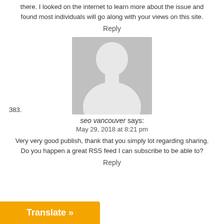there. I looked on the internet to learn more about the issue and found most individuals will go along with your views on this site.
Reply
[Figure (photo): Default avatar silhouette placeholder image - grey background with white person silhouette]
383.
seo vancouver says:
May 29, 2018 at 8:21 pm
Very very good publish, thank that you simply lot regarding sharing. Do you happen a great RSS feed I can subscribe to be able to?
Reply
Translate »